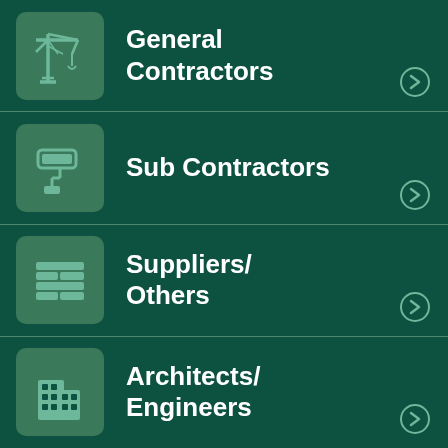[Figure (infographic): Menu with four items: General Contractors (crane icon), Sub Contractors (paint roller icon), Suppliers/Others (brick wall icon), Architects/Engineers (building icon), each with a chevron arrow button.]
General Contractors
Sub Contractors
Suppliers/ Others
Architects/ Engineers